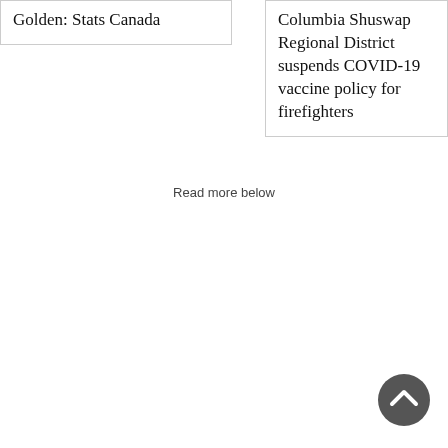Golden: Stats Canada
Columbia Shuswap Regional District suspends COVID-19 vaccine policy for firefighters
Read more below
[Figure (other): Back to top button — dark circular arrow-up icon]